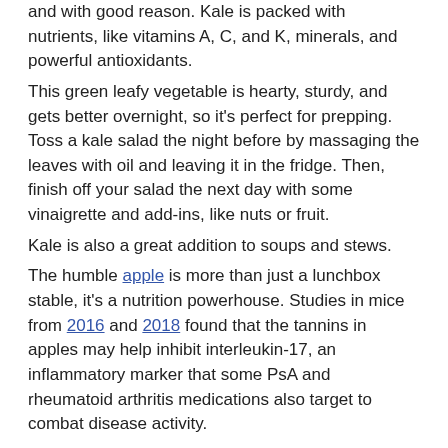and with good reason. Kale is packed with nutrients, like vitamins A, C, and K, minerals, and powerful antioxidants.
This green leafy vegetable is hearty, sturdy, and gets better overnight, so it's perfect for prepping. Toss a kale salad the night before by massaging the leaves with oil and leaving it in the fridge. Then, finish off your salad the next day with some vinaigrette and add-ins, like nuts or fruit.
Kale is also a great addition to soups and stews.
The humble apple is more than just a lunchbox stable, it's a nutrition powerhouse. Studies in mice from 2016 and 2018 found that the tannins in apples may help inhibit interleukin-17, an inflammatory marker that some PsA and rheumatoid arthritis medications also target to combat disease activity.
Instead of baking pies or crisp, try this: Remove the cores from your apples, fill them with your favorite granola, and top them with cinnamon and maple syrup...